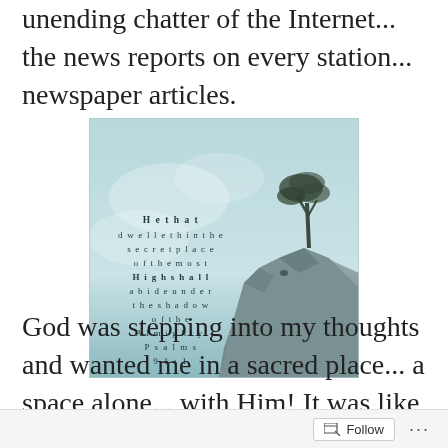unending chatter of the Internet... the news reports on every station... newspaper articles.
[Figure (illustration): Inspirational image with a lone tree on rocky cliffs against a misty blue-grey sky. Overlaid text reads: He that dwelleth in the secret place of the most High shall abide under the shadow of the Almighty. Psalms 91:1]
God was stepping into my thoughts and wanted me in a sacred place... a space alone... with Him!  It was like stepping into
Follow ...